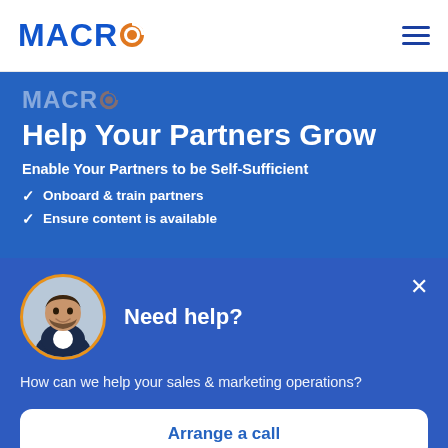[Figure (logo): MACRO logo in blue with orange circular O icon, top left navigation bar]
[Figure (screenshot): Hamburger menu icon (three horizontal lines) in blue, top right of navbar]
Help Your Partners Grow
Enable Your Partners to be Self-Sufficient
Onboard & train partners
Ensure content is available
Need help?
How can we help your sales & marketing operations?
Arrange a call